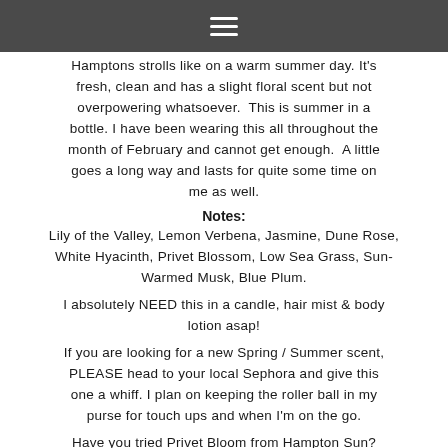☰
Hamptons strolls like on a warm summer day. It's fresh, clean and has a slight floral scent but not overpowering whatsoever. This is summer in a bottle. I have been wearing this all throughout the month of February and cannot get enough. A little goes a long way and lasts for quite some time on me as well.
Notes:
Lily of the Valley, Lemon Verbena, Jasmine, Dune Rose, White Hyacinth, Privet Blossom, Low Sea Grass, Sun-Warmed Musk, Blue Plum.
I absolutely NEED this in a candle, hair mist & body lotion asap!
If you are looking for a new Spring / Summer scent, PLEASE head to your local Sephora and give this one a whiff. I plan on keeping the roller ball in my purse for touch ups and when I'm on the go.
Have you tried Privet Bloom from Hampton Sun?